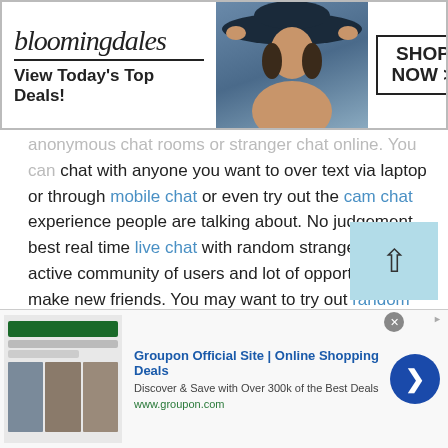[Figure (screenshot): Bloomingdale's advertisement banner: logo, 'View Today's Top Deals!', model with hat, 'SHOP NOW >' button with close X]
anonymous chat rooms or stranger chat online. You can chat with anyone you want to over text via laptop or through mobile chat or even try out the cam chat experience people are talking about. No judgement, best real time live chat with random strangers and an active community of users and lot of opportunities to make new friends. You may want to try out random chat rooms if you want to chat with someone quickly and take control of things. The vast community of active users on talkwithstranger.com make up a lively platform where responses are quick and quirky. Users have the option to
[Figure (screenshot): Groupon Official Site | Online Shopping Deals advertisement banner with image, title, subtitle 'Discover & Save with Over 300k of the Best Deals', www.groupon.com, blue arrow button, close X]